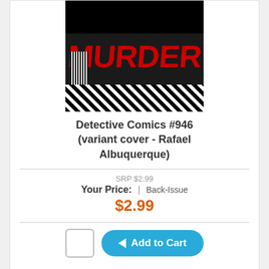[Figure (photo): Comic book cover for Detective Comics #946 variant cover by Rafael Albuquerque, featuring the word MURDER in large red text on dark background with Batman silhouette]
Detective Comics #946 (variant cover - Rafael Albuquerque)
SRP $2.99
Your Price: | Back-Issue
$2.99
Add to Cart
DC Comics
[Figure (photo): Partial comic book cover, dark teal/blue image visible at bottom of page]